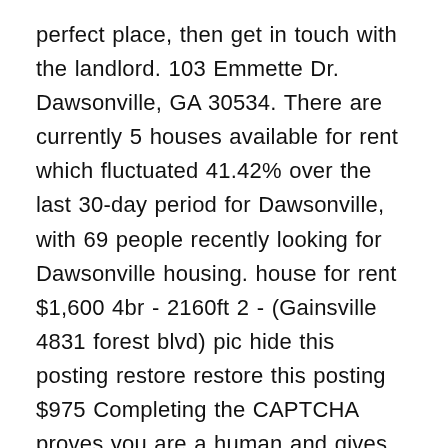perfect place, then get in touch with the landlord. 103 Emmette Dr. Dawsonville, GA 30534. There are currently 5 houses available for rent which fluctuated 41.42% over the last 30-day period for Dawsonville, with 69 people recently looking for Dawsonville housing. house for rent $1,600 4br - 2160ft 2 - (Gainsville 4831 forest blvd) pic hide this posting restore restore this posting $975 Completing the CAPTCHA proves you are a human and gives you temporary access to the web property. 19 Pearl Chambers Dr. $1,400. View houses for rent in Dawsonville, GA. 371 house rental listings are currently available. Performance